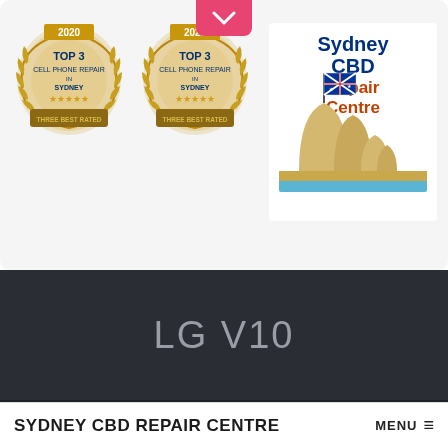[Figure (logo): Two gold laurel wreath badges: 2020 TOP 3 CELL PHONE REPAIR IN SYDNEY THREE BEST RATED and 2021 TOP 3 CELL PHONE REPAIR IN SYDNEY THREE BEST RATED]
[Figure (logo): Sydney CBD Repair Centre logo with Sydney Opera House and Australian flag illustration]
LG V10
Android Phones with the Best Battery Life September 2017
SYDNEY CBD REPAIR CENTRE   MENU ≡